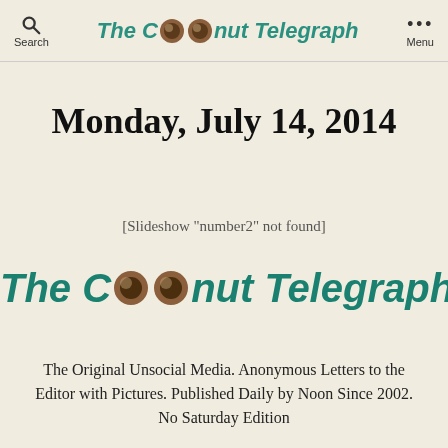Search | The Coconut Telegraph | Menu
Monday, July 14, 2014
[Slideshow "number2" not found]
[Figure (logo): The Coconut Telegraph logo with coconut icons replacing the letter O]
The Original Unsocial Media. Anonymous Letters to the Editor with Pictures. Published Daily by Noon Since 2002. No Saturday Edition